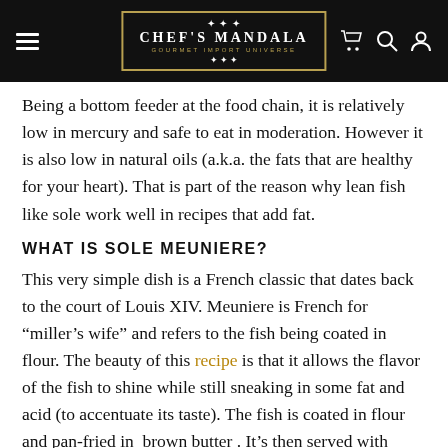Chef's Mandala — Gourmet Import Universe
Being a bottom feeder at the food chain, it is relatively low in mercury and safe to eat in moderation. However it is also low in natural oils (a.k.a. the fats that are healthy for your heart). That is part of the reason why lean fish like sole work well in recipes that add fat.
WHAT IS SOLE MEUNIERE?
This very simple dish is a French classic that dates back to the court of Louis XIV. Meuniere is French for “miller’s wife” and refers to the fish being coated in flour. The beauty of this recipe is that it allows the flavor of the fish to shine while still sneaking in some fat and acid (to accentuate its taste). The fish is coated in flour and pan-fried in brown butter. It’s then served with lemon, parsley and pepper. Outside of France the recipe was first made